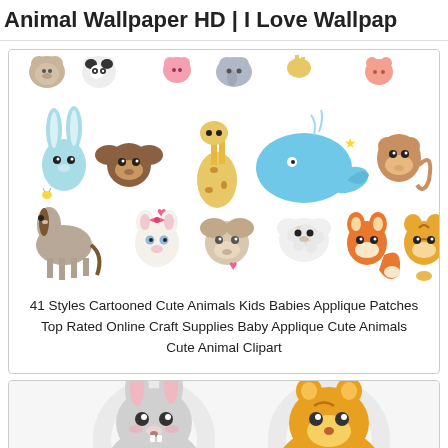Animal Wallpaper HD | I Love Wallpap
[Figure (illustration): Collection of 41 cute cartooned baby animals including bunny, dog, giraffe, whale, monkey, horse, cat, puppy, sheep, fox, tiger and more in colorful cartoon style]
41 Styles Cartooned Cute Animals Kids Babies Applique Patches Top Rated Online Craft Supplies Baby Applique Cute Animals Cute Animal Clipart
[Figure (illustration): Two cute cartoon baby animals side by side: a grey bunny/rabbit on the left and an orange tiger/bear on the right, both in sitting poses with large eyes, on white background with faint watermark]